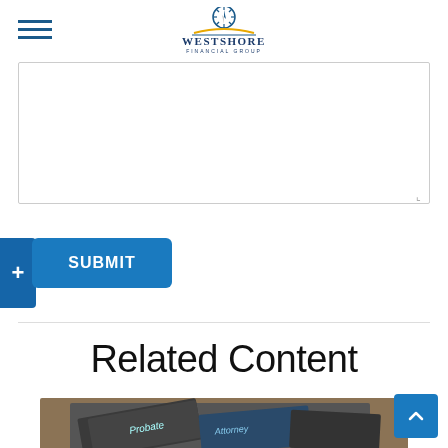Westshore Financial Group
[Figure (screenshot): Empty textarea input box for form submission]
[Figure (screenshot): Submit button (blue) with plus toggle on left side]
Related Content
[Figure (photo): Photo of Probate-labeled file folders on carpet]